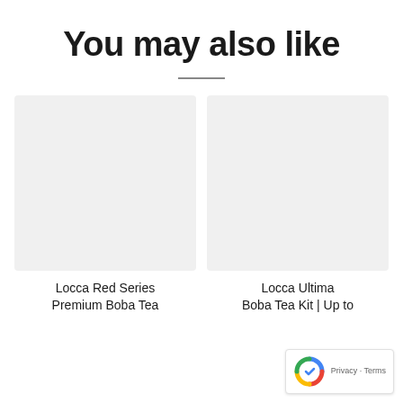You may also like
[Figure (other): Placeholder product image for Locca Red Series Premium Boba Tea]
Locca Red Series Premium Boba Tea
[Figure (other): Placeholder product image for Locca Ultimate Boba Tea Kit | Up to]
Locca Ultimate Boba Tea Kit | Up to